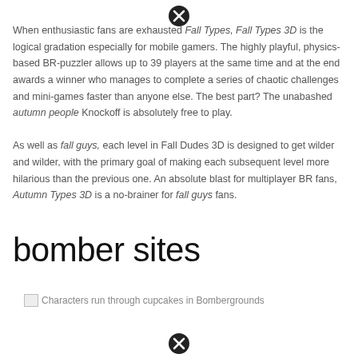[Figure (other): Close/cancel button icon at top center]
When enthusiastic fans are exhausted Fall Types, Fall Types 3D is the logical gradation especially for mobile gamers. The highly playful, physics-based BR-puzzler allows up to 39 players at the same time and at the end awards a winner who manages to complete a series of chaotic challenges and mini-games faster than anyone else. The best part? The unabashed autumn people Knockoff is absolutely free to play.

As well as fall guys, each level in Fall Dudes 3D is designed to get wilder and wilder, with the primary goal of making each subsequent level more hilarious than the previous one. An absolute blast for multiplayer BR fans, Autumn Types 3D is a no-brainer for fall guys fans.
bomber sites
[Figure (photo): Characters run through cupcakes in Bombergrounds]
[Figure (other): Close/cancel button icon at bottom center]